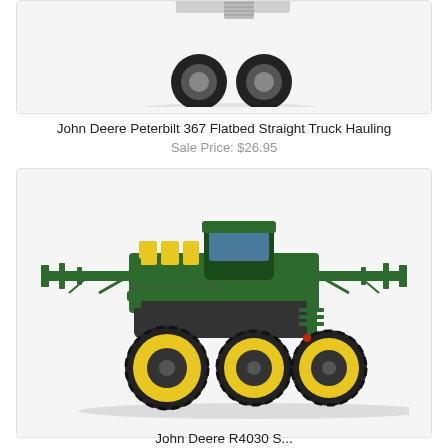[Figure (photo): Partial view of a John Deere Peterbilt 367 Flatbed Straight Truck die-cast model toy, showing the front cab and wheels, white cab color, cropped at top of frame]
John Deere Peterbilt 367 Flatbed Straight Truck Hauling
Sale Price: $26.95
[Figure (photo): John Deere R4030 Self-Propelled Sprayer die-cast model toy, green with yellow wheels and spray boom arms extended, shown on white background]
John Deere R4030 S...